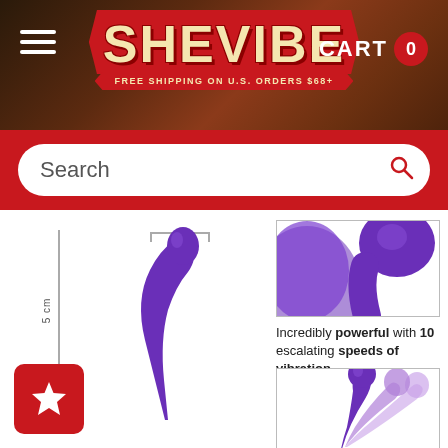[Figure (screenshot): SheVibe website header with logo, hamburger menu, CART 0 badge, red banner, and search bar]
Search
[Figure (photo): Purple flexible vibrator shown with dimension lines on left side, and two detail panels on the right: close-up of head and flexible bending demonstration]
Incredibly powerful with 10 escalating speeds of vibration
Flexes and bends for multi-directional positioning